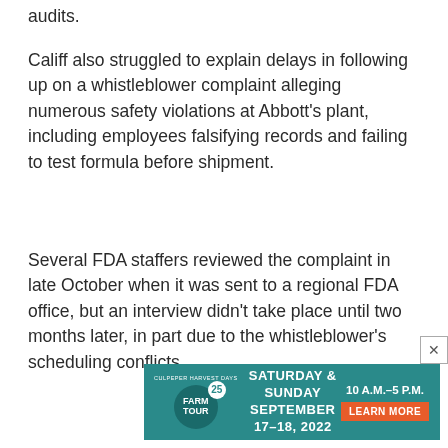audits.
Califf also struggled to explain delays in following up on a whistleblower complaint alleging numerous safety violations at Abbott's plant, including employees falsifying records and failing to test formula before shipment.
Several FDA staffers reviewed the complaint in late October when it was sent to a regional FDA office, but an interview didn't take place until two months later, in part due to the whistleblower's scheduling conflicts.
[Figure (infographic): Advertisement banner for Culpeper Harvest Days Farm Tour 25th anniversary, Saturday & Sunday September 17-18, 2022, 10 A.M.-5 P.M., Learn More button, teal background]